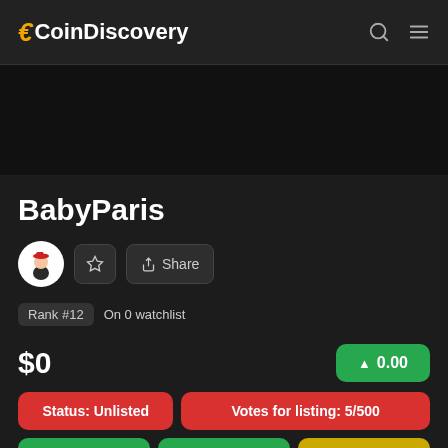eCoinDiscovery
[Figure (illustration): Dark advertisement banner area]
BabyParis
[Figure (illustration): BabyParis coin avatar with character in red hat, star/favorite button, and Share button]
Rank #12   On 0 watchlist
$0
▲ 0.00
Status: Unlisted
Votes for listing: 5/500
Votes: 5
Votes Today: 0
Vote Now